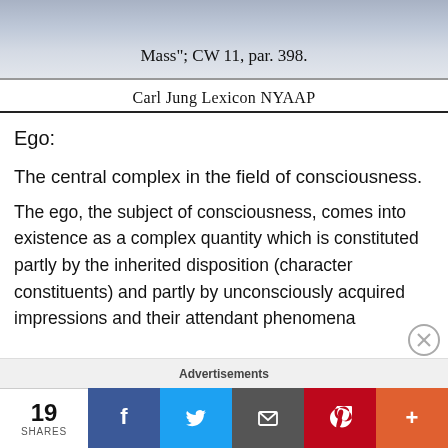[Figure (screenshot): Top partial screenshot showing text: Mass"; CW 11, par. 398. on a grayish background]
Carl Jung Lexicon NYAAP
Ego:
The central complex in the field of consciousness.
The ego, the subject of consciousness, comes into existence as a complex quantity which is constituted partly by the inherited disposition (character constituents) and partly by unconsciously acquired impressions and their attendant phenomena
Advertisements
19 SHARES